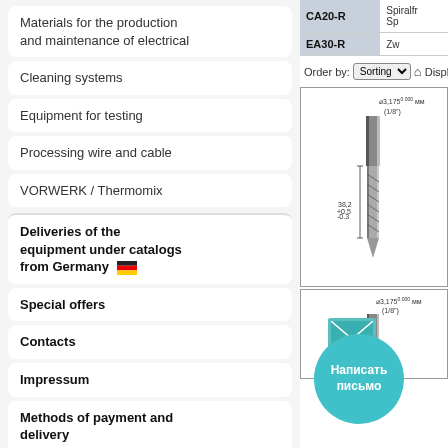Materials for the production and maintenance of electrical
Cleaning systems
Equipment for testing
Processing wire and cable
VORWERK / Thermomix
Deliveries of the equipment under catalogs from Germany
Special offers
Contacts
Impressum
Methods of payment and delivery
| Code | Description |
| --- | --- |
| CA20-R | SpiralV... Sp... |
| EA30-R | Zw... |
Order by: Sorting Display
[Figure (engineering-diagram): Technical drawing of a spiral drill bit with dimensions: diameter 3.175mm (1/8") and length 38.2mm]
Написать письмо
[Figure (engineering-diagram): Second technical drawing of a spiral drill bit with dimensions: diameter 3.175mm (1/8")]